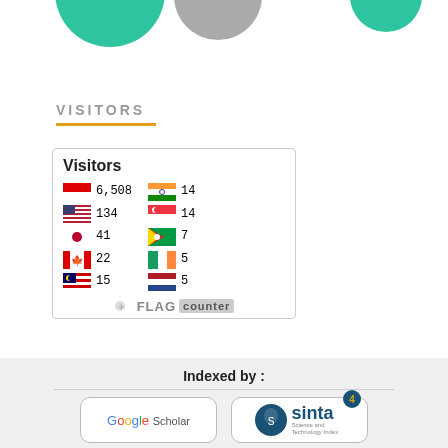[Figure (illustration): Partial circular logo icons at the top of the page — a large teal/green circle on left, a gray circle in center, and a smaller teal circle on the right, all partially cropped]
VISITORS
[Figure (infographic): Flag Counter widget showing Visitors count by country. Visitors header bold. Two columns: Left: Indonesia flag 6,508; US flag 134; Japan flag 41; Canada flag 22; Malaysia flag 15. Right: India flag 14; Singapore flag 14; Timor-Leste flag 7; Ireland flag 5; Netherlands flag 5. FLAG counter branding at bottom.]
Indexed by :
[Figure (logo): Google Scholar logo in multicolor text]
[Figure (logo): SINTA (Science and Technology Index) logo with number 4 badge, teal circular icon]